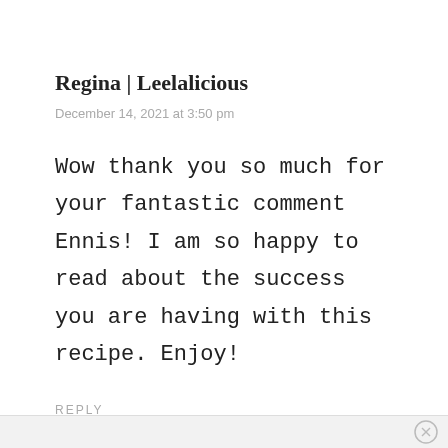Regina | Leelalicious
December 14, 2021 at 3:50 pm
Wow thank you so much for your fantastic comment Ennis! I am so happy to read about the success you are having with this recipe. Enjoy!
REPLY